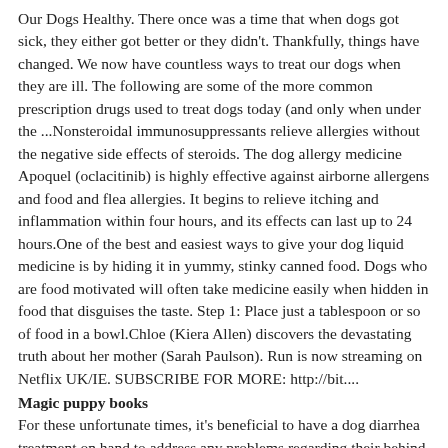Our Dogs Healthy. There once was a time that when dogs got sick, they either got better or they didn't. Thankfully, things have changed. We now have countless ways to treat our dogs when they are ill. The following are some of the more common prescription drugs used to treat dogs today (and only when under the ...Nonsteroidal immunosuppressants relieve allergies without the negative side effects of steroids. The dog allergy medicine Apoquel (oclacitinib) is highly effective against airborne allergens and food and flea allergies. It begins to relieve itching and inflammation within four hours, and its effects can last up to 24 hours.One of the best and easiest ways to give your dog liquid medicine is by hiding it in yummy, stinky canned food. Dogs who are food motivated will often take medicine easily when hidden in food that disguises the taste. Step 1: Place just a tablespoon or so of food in a bowl.Chloe (Kiera Allen) discovers the devastating truth about her mother (Sarah Paulson). Run is now streaming on Netflix UK/IE. SUBSCRIBE FOR MORE: http://bit....
Magic puppy books
For these unfortunate times, it's beneficial to have a dog diarrhea treatment on hand to address any problems regarding their behind. To help your pet feel better ASAP, we researched and analyzed a wide range of dog diarrhea treatments that don't require a prescription. Here's what we found. Nov 04, 2021 · Given at the proper doses and under the supervision of a veterinarian, ivermectin is safe for most dogs and is very effective in treating